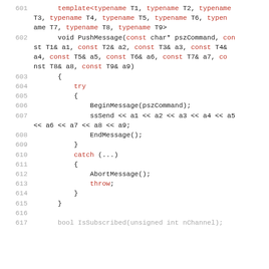601-616 C++ code snippet showing a template PushMessage function with try/catch/throw pattern